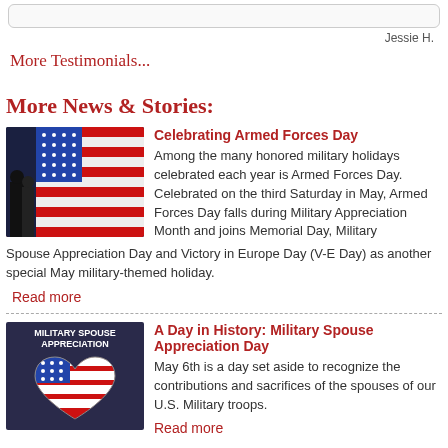Jessie H.
More Testimonials...
More News & Stories:
[Figure (photo): Silhouette of a soldier saluting in front of an American flag]
Celebrating Armed Forces Day
Among the many honored military holidays celebrated each year is Armed Forces Day. Celebrated on the third Saturday in May, Armed Forces Day falls during Military Appreciation Month and joins Memorial Day, Military Spouse Appreciation Day and Victory in Europe Day (V-E Day) as another special May military-themed holiday.
Read more
[Figure (photo): Military Spouse Appreciation graphic with American flag heart on dark background]
A Day in History: Military Spouse Appreciation Day
May 6th is a day set aside to recognize the contributions and sacrifices of the spouses of our U.S. Military troops.
Read more